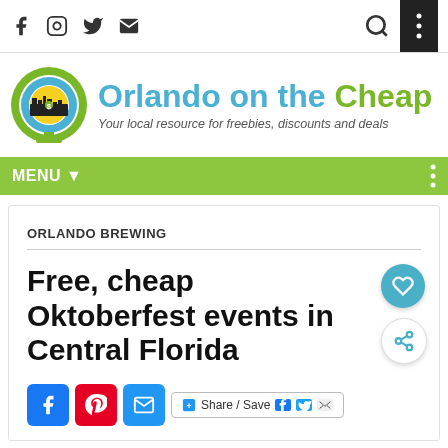Orlando on the Cheap — Your local resource for freebies, discounts and deals
ORLANDO BREWING
Free, cheap Oktoberfest events in Central Florida